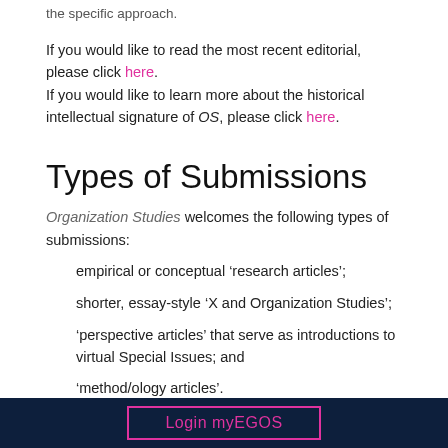the specific approach.
If you would like to read the most recent editorial, please click here. If you would like to learn more about the historical intellectual signature of OS, please click here.
Types of Submissions
Organization Studies welcomes the following types of submissions:
empirical or conceptual ‘research articles’;
shorter, essay-style ‘X and Organization Studies’;
‘perspective articles’ that serve as introductions to virtual Special Issues; and
‘method/ology articles’
Login myEGOS